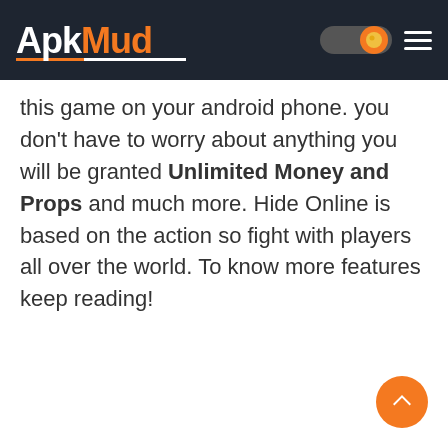ApkMud
this game on your android phone. you don't have to worry about anything you will be granted Unlimited Money and Props and much more. Hide Online is based on the action so fight with players all over the world. To know more features keep reading!